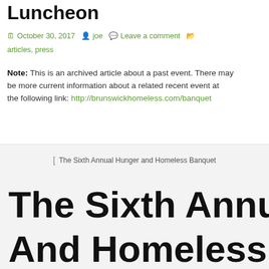Luncheon
October 30, 2017  joe  Leave a comment  articles, press
Note: This is an archived article about a past event. There may be more current information about a related recent event at the following link: http://brunswickhomeless.com/banquet
[Figure (photo): The Sixth Annual Hunger and Homeless Banquet image placeholder]
The Sixth Annual Hunger And Homeless Banquet Supper...